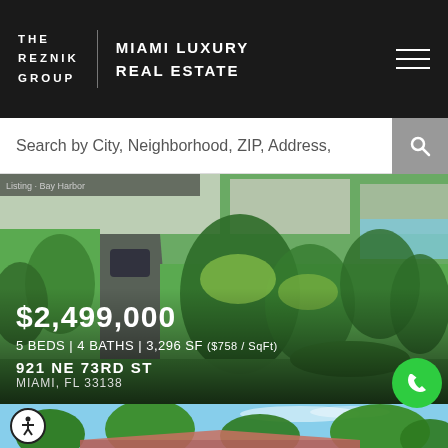THE REZNIK GROUP | MIAMI LUXURY REAL ESTATE
Search by City, Neighborhood, ZIP, Address,
[Figure (photo): Aerial/drone view of a residential property with lush green landscaping, palm trees, a driveway, and surrounding homes in Miami, FL]
$2,499,000
5 BEDS | 4 BATHS | 3,296 SF ($758 / SqFt)
921 NE 73RD ST
MIAMI, FL 33138
[Figure (photo): Exterior photo of a Miami luxury home partially visible behind dense tropical palm tree landscaping under a blue sky]